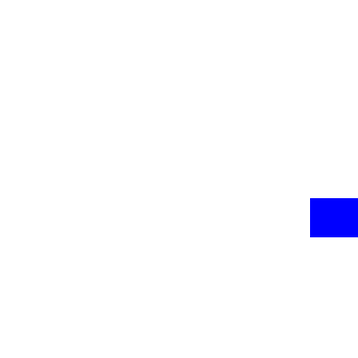|  | Jan | Feb | Mar |
| --- | --- | --- | --- |
| 24 | 35 | 41 | 52 |
| 25 | 35 | 41 | 52 |
| 26 | 35 | 42 | 53 |
| 27 | 36 | 42 | 53 |
| 28 | 36 | 42 | 54 |
| 29 | 36 | - | 54 |
| 30 | 36 | - | 55 |
| 31 | 36 | - | 55 |
| N (section header) |  |  |  |
|  | Jan | Feb | Mar |
| 1 | 22 | 20 | 25 |
| 2 | 22 | 20 | 25 |
| 3 | 22 | 20 | 26 |
| 4 | 22 | 20 | 26 |
| 5 | 22 | 20 | 26 |
| 6 | 21 | 20 | 27 |
| 7 | 21 | 20 | 27 |
| 8 | 21 | 21 | 27 |
| 9 | 21 | 21 | 27 |
| 10 | 21 | 21 | 28 |
| 11 | 21 | 21 | 28 |
| 12 | 20 | 21 | 28 |